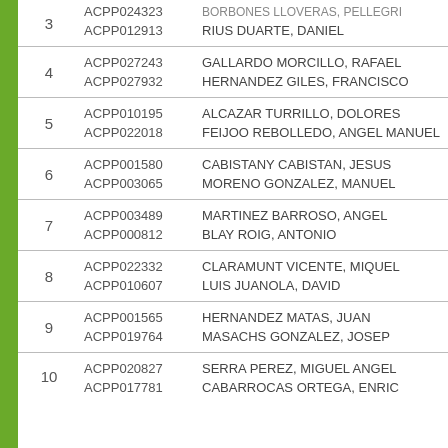| # | Code | Name |
| --- | --- | --- |
| 3 | ACPP024323 | BORBONES LLOVERAS, PELLEGRI |
| 3 | ACPP012913 | RIUS DUARTE, DANIEL |
| 4 | ACPP027243 | GALLARDO MORCILLO, RAFAEL |
| 4 | ACPP027932 | HERNANDEZ GILES, FRANCISCO |
| 5 | ACPP010195 | ALCAZAR TURRILLO, DOLORES |
| 5 | ACPP022018 | FEIJOO REBOLLEDO, ANGEL MANUEL |
| 6 | ACPP001580 | CABISTANY CABISTAN, JESUS |
| 6 | ACPP003065 | MORENO GONZALEZ, MANUEL |
| 7 | ACPP003489 | MARTINEZ BARROSO, ANGEL |
| 7 | ACPP000812 | BLAY ROIG, ANTONIO |
| 8 | ACPP022332 | CLARAMUNT VICENTE, MIQUEL |
| 8 | ACPP010607 | LUIS JUANOLA, DAVID |
| 9 | ACPP001565 | HERNANDEZ MATAS, JUAN |
| 9 | ACPP019764 | MASACHS GONZALEZ, JOSEP |
| 10 | ACPP020827 | SERRA PEREZ, MIGUEL ANGEL |
| 10 | ACPP017781 | CABARROCAS ORTEGA, ENRIC |